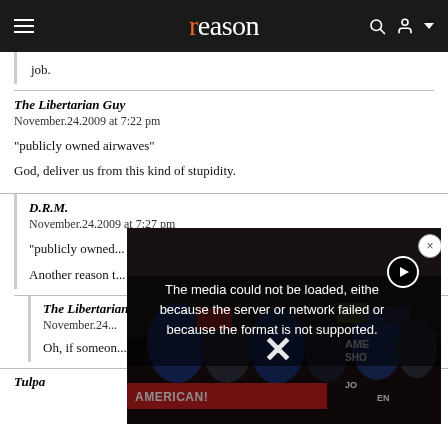reason
job.
The Libertarian Guy
November.24.2009 at 7:22 pm

"publicly owned airwaves"

God, deliver us from this kind of stupidity.
D.R.M.
November.24.2009 at 7:27 pm

"publicly owned...

Another reason t...
The Libertarian...
November.24...

Oh, if someon...
Tulpa
[Figure (screenshot): Video player overlay showing error message: 'The media could not be loaded, either because the server or network failed or because the format is not supported.' with a close button and X mark, overlaid on a protest image with red banner reading 'AMERICAN!']